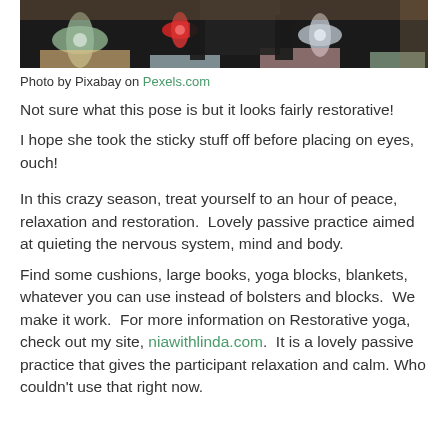[Figure (photo): Partial photo showing Christmas bows and gifts with a person in dark clothing, cropped to top strip]
Photo by Pixabay on Pexels.com
Not sure what this pose is but it looks fairly restorative!
I hope she took the sticky stuff off before placing on eyes, ouch!
In this crazy season, treat yourself to an hour of peace, relaxation and restoration.  Lovely passive practice aimed at quieting the nervous system, mind and body.
Find some cushions, large books, yoga blocks, blankets, whatever you can use instead of bolsters and blocks.  We make it work.  For more information on Restorative yoga, check out my site, niawithlinda.com.  It is a lovely passive practice that gives the participant relaxation and calm. Who couldn't use that right now.